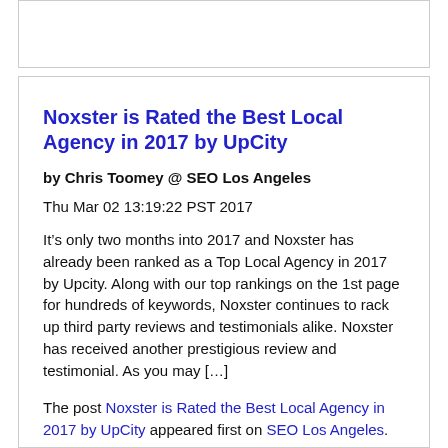Noxster is Rated the Best Local Agency in 2017 by UpCity
by Chris Toomey @ SEO Los Angeles
Thu Mar 02 13:19:22 PST 2017
It’s only two months into 2017 and Noxster has already been ranked as a Top Local Agency in 2017 by Upcity. Along with our top rankings on the 1st page for hundreds of keywords, Noxster continues to rack up third party reviews and testimonials alike. Noxster has received another prestigious review and testimonial. As you may […]
The post Noxster is Rated the Best Local Agency in 2017 by UpCity appeared first on SEO Los Angeles.